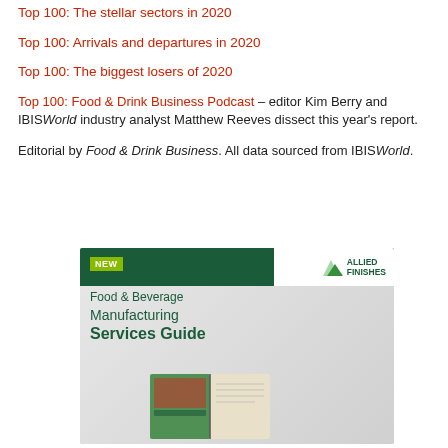Top 100: The stellar sectors in 2020
Top 100: Arrivals and departures in 2020
Top 100: The biggest losers of 2020
Top 100: Food & Drink Business Podcast – editor Kim Berry and IBISWorld industry analyst Matthew Reeves dissect this year's report.
Editorial by Food & Drink Business. All data sourced from IBISWorld.
[Figure (illustration): Allied Finishes advertisement for Food & Beverage Manufacturing Services Guide. Dark green header bar with NEW badge in lime green, Allied Finishes logo in top right, green text body with book cover image at bottom.]